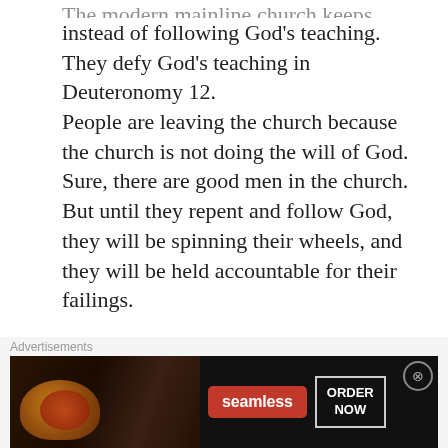instead of following God's teaching. They defy God's teaching in Deuteronomy 12. People are leaving the church because the church is not doing the will of God. Sure, there are good men in the church. But until they repent and follow God, they will be spinning their wheels, and they will be held accountable for their failings.
Like
REPLY
Rev. Erik Parker
APRIL 15, 2016 AT 4:12 PM
[Figure (screenshot): Seamless food delivery advertisement banner showing pizza and ORDER NOW button]